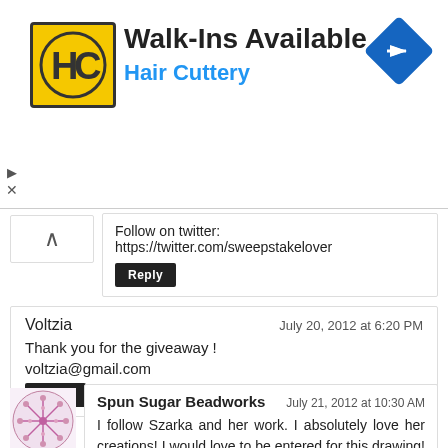[Figure (advertisement): Hair Cuttery advertisement banner with yellow HC logo, 'Walk-Ins Available' headline, blue 'Hair Cuttery' subtitle, and blue diamond direction arrow icon]
Follow on twitter: https://twitter.com/sweepstakelover
Reply
Voltzia
July 20, 2012 at 6:20 PM
Thank you for the giveaway !
voltzia@gmail.com
Reply
Spun Sugar Beadworks
July 21, 2012 at 10:30 AM
I follow Szarka and her work. I absolutely love her creations! I would love to be entered for this drawing! Love your blog too!! it's great!
www.spunsugarheadworks.blogspot.com